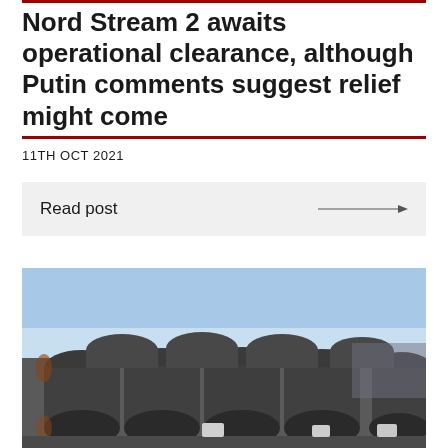Nord Stream 2 awaits operational clearance, although Putin comments suggest relief might come
11TH OCT 2021
Read post
[Figure (photo): Photograph of large industrial pipes (likely for the Nord Stream 2 pipeline) stacked outdoors in rows, with a clear blue sky in the background.]